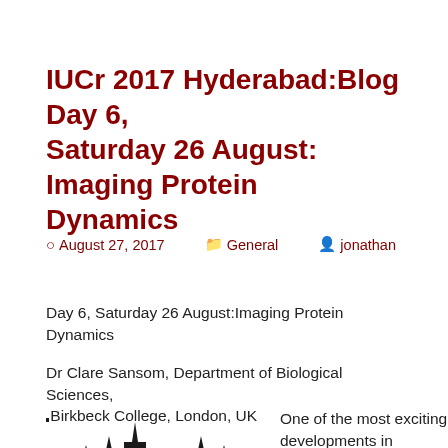IUCr 2017 Hyderabad:Blog Day 6, Saturday 26 August: Imaging Protein Dynamics
August 27, 2017   General   jonathan
Day 6, Saturday 26 August:Imaging Protein Dynamics
Dr Clare Sansom, Department of Biological Sciences, Birkbeck College, London, UK
[Figure (logo): IUCr Congress 2017 Hyderabad logo showing stylized mosque/palace architecture in black and white]
One of the most exciting developments in macromolecular